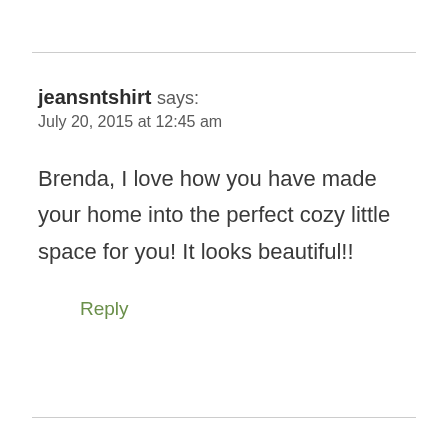jeansntshirt says:
July 20, 2015 at 12:45 am
Brenda, I love how you have made your home into the perfect cozy little space for you! It looks beautiful!!
Reply